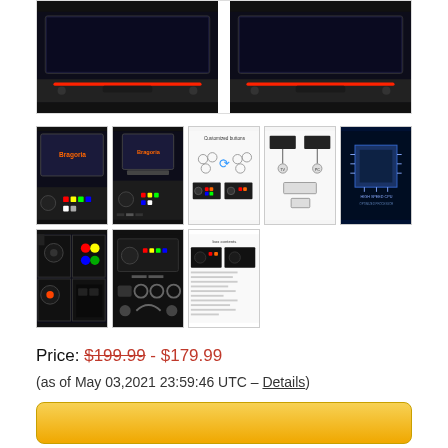[Figure (photo): Two arcade game console units shown side by side at the top of the page, black gaming devices with red accents]
[Figure (photo): Grid of product thumbnail images showing arcade game console from multiple angles: gameplay on TV, controller layout, button diagrams, connectivity diagram, CPU chip photo, joystick closeups, accessories, and packaging contents]
Price: $199.99 - $179.99
(as of May 03,2021 23:59:46 UTC – Details)
[Figure (other): Yellow Add to Cart button at bottom of page]